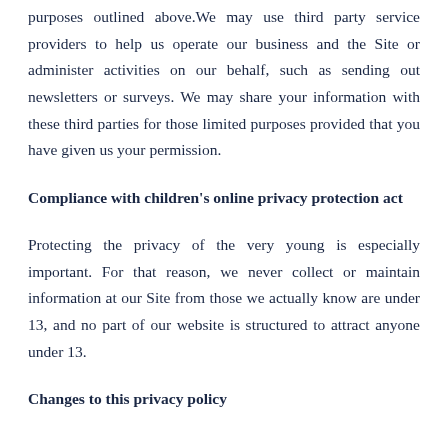purposes outlined above.We may use third party service providers to help us operate our business and the Site or administer activities on our behalf, such as sending out newsletters or surveys. We may share your information with these third parties for those limited purposes provided that you have given us your permission.
Compliance with children's online privacy protection act
Protecting the privacy of the very young is especially important. For that reason, we never collect or maintain information at our Site from those we actually know are under 13, and no part of our website is structured to attract anyone under 13.
Changes to this privacy policy